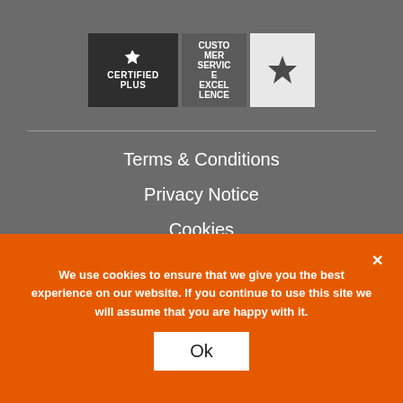[Figure (logo): Three certification badges: 'Certified Plus' dark badge, 'Customer Service Excellence' partial badge, and a star badge on white background]
Terms & Conditions
Privacy Notice
Cookies
Accessibility
© Gateway Qualifications 2022
We use cookies to ensure that we give you the best experience on our website. If you continue to use this site we will assume that you are happy with it.
Ok